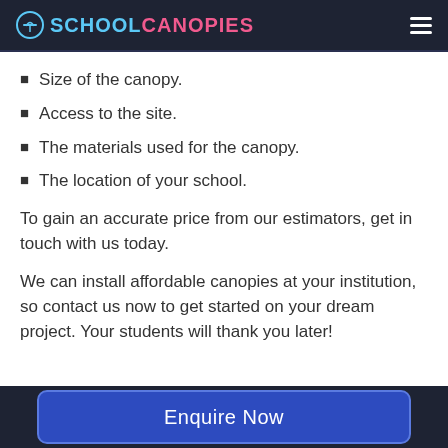SCHOOL CANOPIES
Size of the canopy.
Access to the site.
The materials used for the canopy.
The location of your school.
To gain an accurate price from our estimators, get in touch with us today.
We can install affordable canopies at your institution, so contact us now to get started on your dream project. Your students will thank you later!
Enquire Now